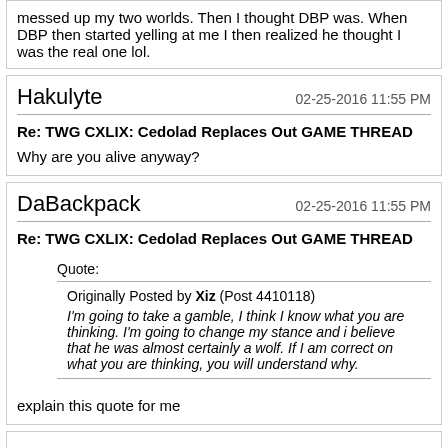messed up my two worlds. Then I thought DBP was. When DBP then started yelling at me I then realized he thought I was the real one lol.
Hakulyte    02-25-2016 11:55 PM
Re: TWG CXLIX: Cedolad Replaces Out GAME THREAD
Why are you alive anyway?
DaBackpack    02-25-2016 11:55 PM
Re: TWG CXLIX: Cedolad Replaces Out GAME THREAD
Quote:
Originally Posted by Xiz (Post 4410118)
I'm going to take a gamble, I think I know what you are thinking. I'm going to change my stance and i believe that he was almost certainly a wolf. If I am correct on what you are thinking, you will understand why.
explain this quote for me